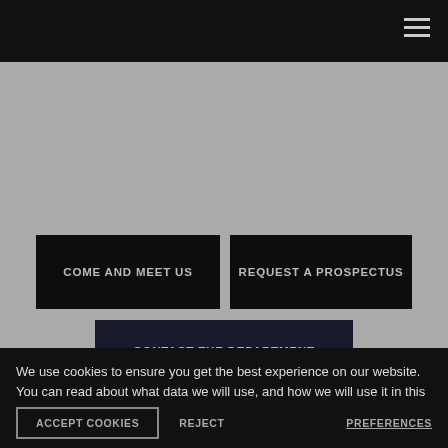[Figure (photo): Grey hero image area on a university/education website]
COME AND MEET US
REQUEST A PROSPECTUS
CONTACT THE DEPARTMENT
We use cookies to ensure you get the best experience on our website.
You can read about what data we will use, and how we will use it in this privacy notice.
ACCEPT COOKIES
REJECT
PREFERENCES